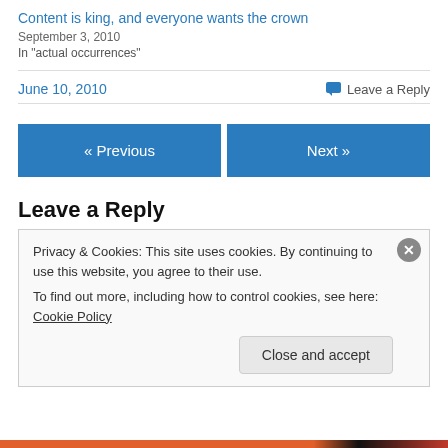Content is king, and everyone wants the crown
September 3, 2010
In "actual occurrences"
June 10, 2010
Leave a Reply
« Previous
Next »
Leave a Reply
Privacy & Cookies: This site uses cookies. By continuing to use this website, you agree to their use.
To find out more, including how to control cookies, see here: Cookie Policy
Close and accept